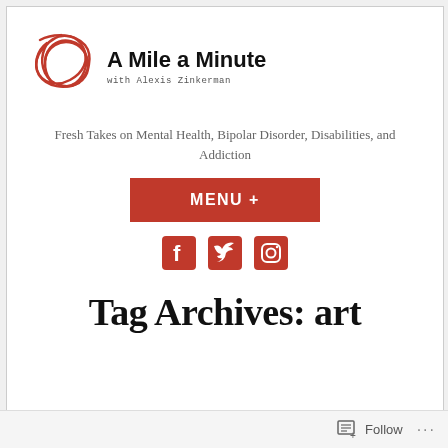[Figure (logo): Red scribble/sketch style logo icon for A Mile a Minute blog]
A Mile a Minute with Alexis Zinkerman
Fresh Takes on Mental Health, Bipolar Disorder, Disabilities, and Addiction
[Figure (other): MENU + red button]
[Figure (other): Social media icons: Facebook, Twitter, Instagram in red]
Tag Archives: art
Follow ...